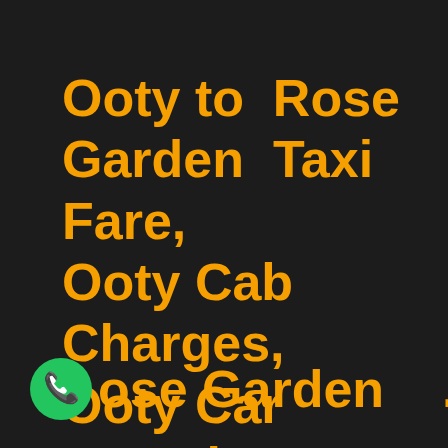Ooty to  Rose Garden  Taxi Fare, Ooty Cab Charges, Ooty Car Rental Tariff, best taxi in Rose Garden  .
[Figure (illustration): Green circular phone/call icon with white handset symbol]